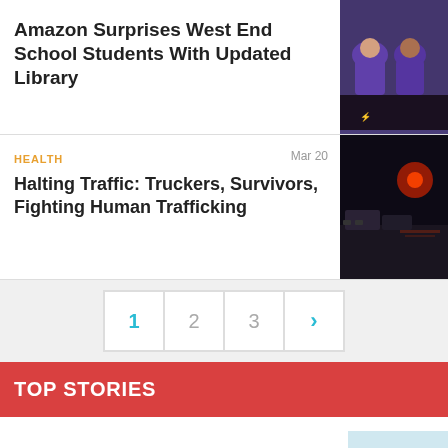Amazon Surprises West End School Students With Updated Library
[Figure (photo): Students in purple shirts sitting together]
HEALTH   Mar 20
Halting Traffic: Truckers, Survivors, Fighting Human Trafficking
[Figure (photo): Nighttime parking lot with red lights]
Pagination: 1 2 3 >
TOP STORIES
State fair draws members of disaster-impacted communities
[Figure (photo): Colorful letters spelling 'Juneteenth' at a fair]